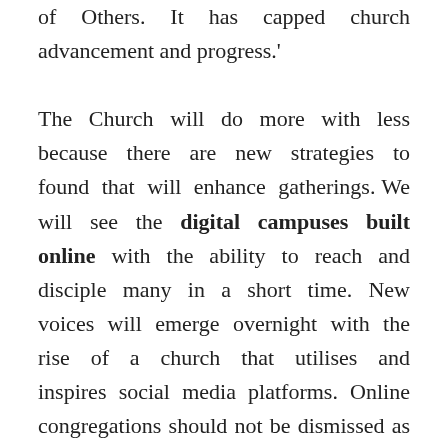of Others. It has capped church advancement and progress.' The Church will do more with less because there are new strategies to found that will enhance gatherings. We will see the digital campuses built online with the ability to reach and disciple many in a short time. New voices will emerge overnight with the rise of a church that utilises and inspires social media platforms. Online congregations should not be dismissed as a fad, even as the Lord is creating